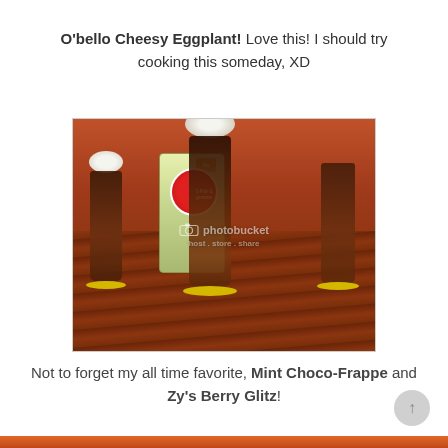O'bello Cheesy Eggplant! Love this! I should try cooking this someday, XD
[Figure (photo): Photo of chocolate frappe drinks in tall glasses on a wooden table at a restaurant, with a green menu card stand visible in the center. Photobucket watermark overlay present.]
Not to forget my all time favorite, Mint Choco-Frappe and Zy's Berry Glitz!